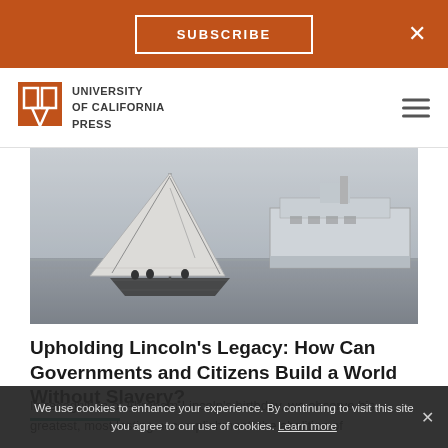SUBSCRIBE
[Figure (logo): University of California Press logo with stylized open book icon and text]
[Figure (photo): Black and white photograph of a sailboat with large sail in the foreground and a larger motor vessel in the background on open water in foggy conditions]
Upholding Lincoln's Legacy: How Can Governments and Citizens Build a World Without Slavery?
In recognition of Abraham Lincoln's birthday, we observe his greatest, most lasting accomplishment: the abolition of
We use cookies to enhance your experience. By continuing to visit this site you agree to our use of cookies. Learn more